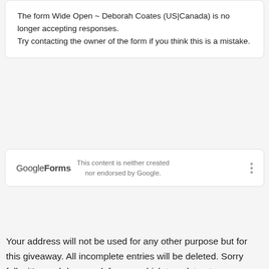The form Wide Open ~ Deborah Coates (US|Canada) is no longer accepting responses.
Try contacting the owner of the form if you think this is a mistake.
Google Forms  This content is neither created nor endorsed by Google.
Your address will not be used for any other purpose but for this giveaway. All incomplete entries will be deleted. Sorry folks it's much less work for me, which translates to more giveaways for you. Winners are chosen by random.org and